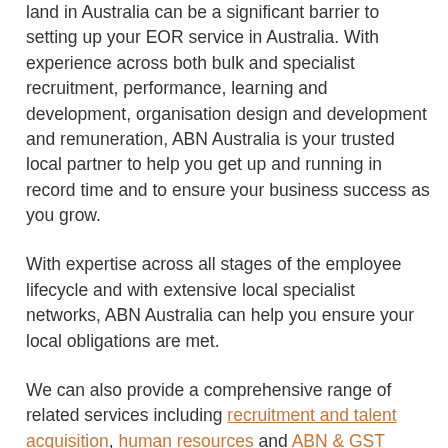land in Australia can be a significant barrier to setting up your EOR service in Australia. With experience across both bulk and specialist recruitment, performance, learning and development, organisation design and development and remuneration, ABN Australia is your trusted local partner to help you get up and running in record time and to ensure your business success as you grow.
With expertise across all stages of the employee lifecycle and with extensive local specialist networks, ABN Australia can help you ensure your local obligations are met.
We can also provide a comprehensive range of related services including recruitment and talent acquisition, human resources and ABN & GST